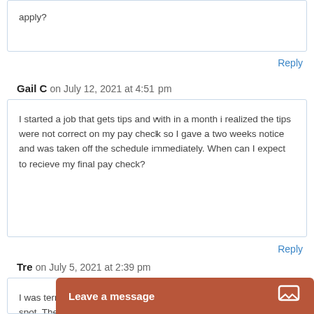apply?
Reply
Gail C on July 12, 2021 at 4:51 pm
I started a job that gets tips and with in a month i realized the tips were not correct on my pay check so I gave a two weeks notice and was taken off the schedule immediately. When can I expect to recieve my final pay check?
Reply
Tre on July 5, 2021 at 2:39 pm
I was terminated on the 26th of June. I asked for my check on the spot. The manager gave some excuse about my hours needing to be factored in or something so it would be to me by the 1st of July. PAYROLL and they fou
Leave a message